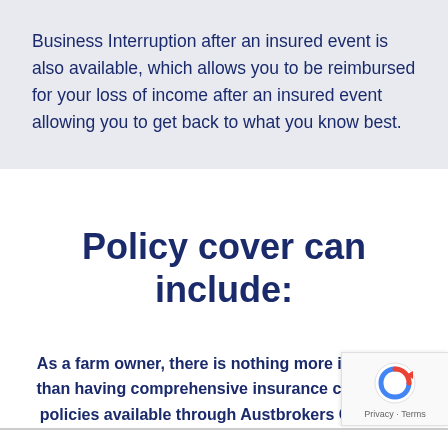Business Interruption after an insured event is also available, which allows you to be reimbursed for your loss of income after an insured event allowing you to get back to what you know best.
Policy cover can include:
As a farm owner, there is nothing more important than having comprehensive insurance cover. The policies available through Austbrokers Comsure can cover: